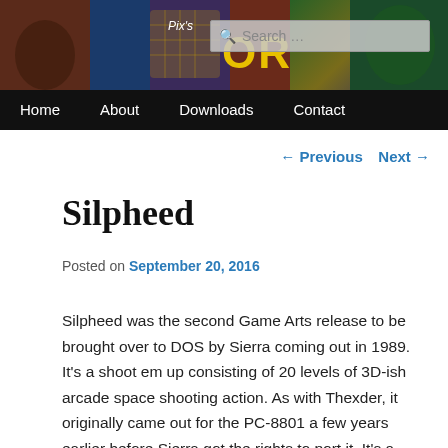[Figure (screenshot): Website header banner with colorful arcade game imagery background, site logo reading 'Pix's OR...' in yellow, and a search box.]
Home   About   Downloads   Contact
← Previous   Next →
Silpheed
Posted on September 20, 2016
Silpheed was the second Game Arts release to be brought over to DOS by Sierra coming out in 1989. It's a shoot em up consisting of 20 levels of 3D-ish arcade space shooting action. As with Thexder, it originally came out for the PC-8801 a few years earlier before Sierra got the rights to port it. It's a game I already know well